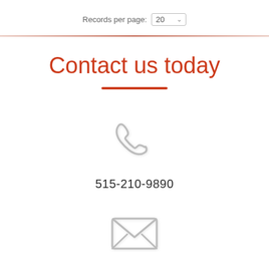Records per page: 20
Contact us today
[Figure (illustration): Gray phone handset icon]
515-210-9890
[Figure (illustration): Gray envelope/email icon]